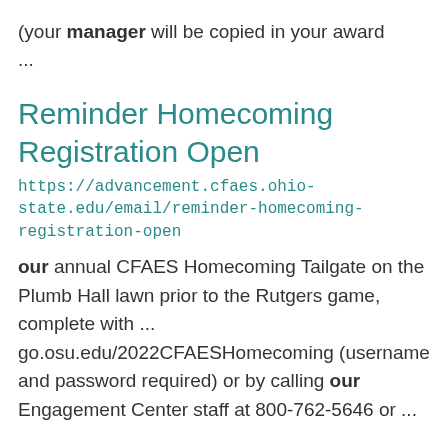(your manager will be copied in your award ...
Reminder Homecoming Registration Open
https://advancement.cfaes.ohio-state.edu/email/reminder-homecoming-registration-open
our annual CFAES Homecoming Tailgate on the Plumb Hall lawn prior to the Rutgers game, complete with ... go.osu.edu/2022CFAESHomecoming (username and password required) or by calling our Engagement Center staff at 800-762-5646 or ...